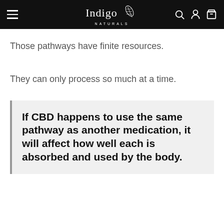Indigo Naturals
Those pathways have finite resources.
They can only process so much at a time.
If CBD happens to use the same pathway as another medication, it will affect how well each is absorbed and used by the body.